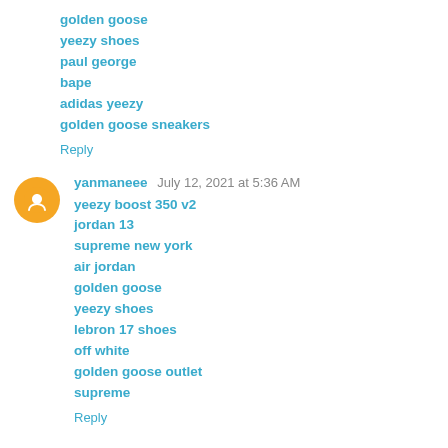golden goose
yeezy shoes
paul george
bape
adidas yeezy
golden goose sneakers
Reply
yanmaneee  July 12, 2021 at 5:36 AM
yeezy boost 350 v2
jordan 13
supreme new york
air jordan
golden goose
yeezy shoes
lebron 17 shoes
off white
golden goose outlet
supreme
Reply